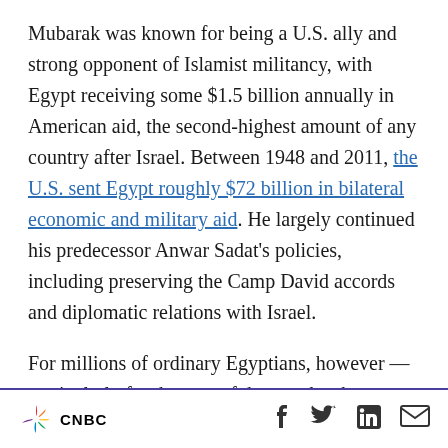Mubarak was known for being a U.S. ally and strong opponent of Islamist militancy, with Egypt receiving some $1.5 billion annually in American aid, the second-highest amount of any country after Israel. Between 1948 and 2011, the U.S. sent Egypt roughly $72 billion in bilateral economic and military aid. He largely continued his predecessor Anwar Sadat's policies, including preserving the Camp David accords and diplomatic relations with Israel.
For millions of ordinary Egyptians, however — particularly for the tens of thousands who
CNBC | social icons: Facebook, Twitter, LinkedIn, Email